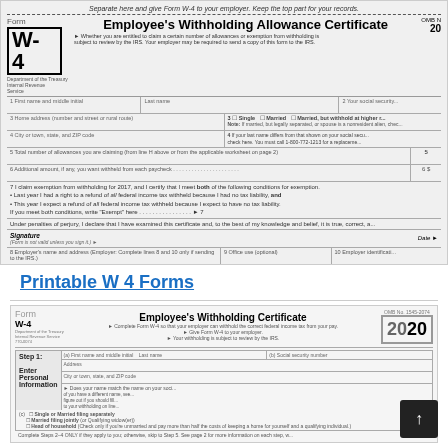[Figure (screenshot): IRS Form W-4 Employee's Withholding Allowance Certificate (older version) showing fields for name, address, social security number, marital status checkboxes, allowances, exemption from withholding, signature and date, employer name and address sections, and footer with Cat. No.]
Printable W 4 Forms
[Figure (screenshot): IRS Form W-4 Employee's Withholding Certificate (2020 version) showing Step 1 Enter Personal Information with fields for name, address, city/state/ZIP, social security number, and filing status checkboxes (Single, Married filing jointly, Head of household), OMB No. 1545-0074, year 2020]